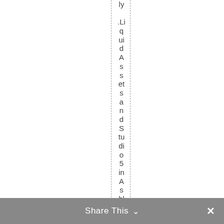ly .LiquidAssetsandStudio5inAshland
Share This ∨  ×